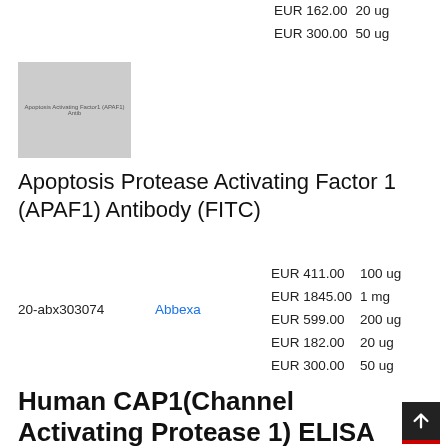| Price | Size |
| --- | --- |
| EUR 162.00 | 20 ug |
| EUR 300.00 | 50 ug |
[Figure (photo): Grayscale placeholder image for Apoptosis Protease Activating Factor 1 (APAF1) Antibody product]
Apoptosis Protease Activating Factor 1 (APAF1) Antibody (FITC)
20-abx303074
Abbexa
| Price | Size |
| --- | --- |
| EUR 411.00 | 100 ug |
| EUR 1845.00 | 1 mg |
| EUR 599.00 | 200 ug |
| EUR 182.00 | 20 ug |
| EUR 300.00 | 50 ug |
Human CAP1(Channel Activating Protease 1) ELISA